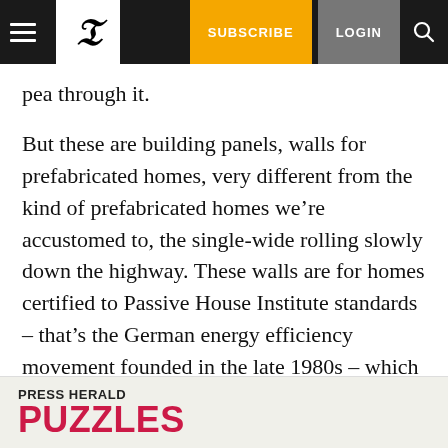Press Herald navigation bar with hamburger menu, logo, SUBSCRIBE, LOGIN, and search
pea through it.
But these are building panels, walls for prefabricated homes, very different from the kind of prefabricated homes we’re accustomed to, the single-wide rolling slowly down the highway. These walls are for homes certified to Passive House Institute standards – that’s the German energy efficiency movement founded in the late 1980s – which means they’ll be 90 percent more efficient than traditional
[Figure (screenshot): Advertisement banner for Press Herald Puzzles at the bottom of the page]